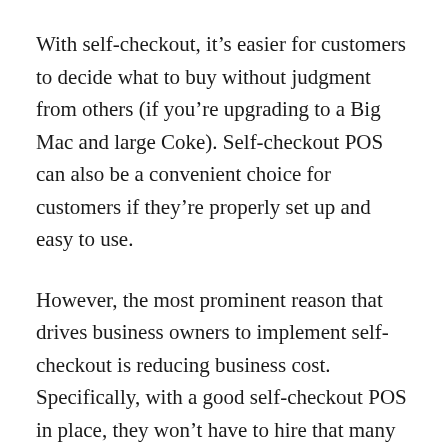With self-checkout, it's easier for customers to decide what to buy without judgment from others (if you're upgrading to a Big Mac and large Coke). Self-checkout POS can also be a convenient choice for customers if they're properly set up and easy to use.
However, the most prominent reason that drives business owners to implement self-checkout is reducing business cost. Specifically, with a good self-checkout POS in place, they won't have to hire that many staff just for checking out for the customers. What can be a better choice and enhancing your service at a lower cost?